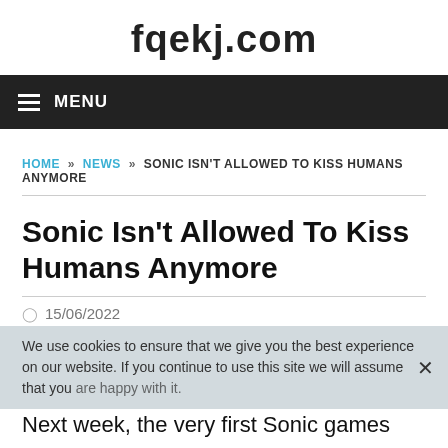fqekj.com
MENU
HOME » NEWS » SONIC ISN'T ALLOWED TO KISS HUMANS ANYMORE
Sonic Isn't Allowed To Kiss Humans Anymore
15/06/2022
We use cookies to ensure that we give you the best experience on our website. If you continue to use this site we will assume that you are happy with it.
Next week, the very first Sonic games will make their way onto the latest consoles via Sonic Origins. The new collection includes four games, and even adds